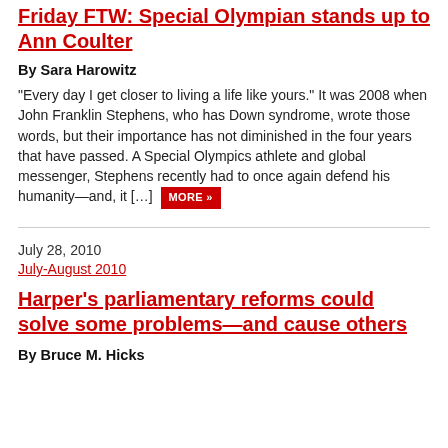Friday FTW: Special Olympian stands up to Ann Coulter
By Sara Harowitz
“Every day I get closer to living a life like yours.” It was 2008 when John Franklin Stephens, who has Down syndrome, wrote those words, but their importance has not diminished in the four years that have passed. A Special Olympics athlete and global messenger, Stephens recently had to once again defend his humanity—and, it […] MORE »
July 28, 2010
July-August 2010
Harper’s parliamentary reforms could solve some problems—and cause others
By Bruce M. Hicks